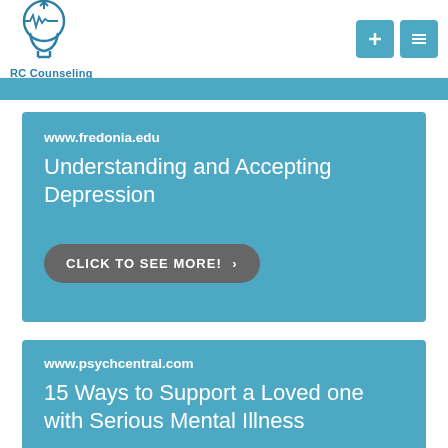[Figure (logo): RC Counseling logo — head silhouette with EEG wave, teal color, text 'RC Counseling' below]
www.fredonia.edu
Understanding and Accepting Depression
CLICK TO SEE MORE! >
www.psychcentral.com
15 Ways to Support a Loved one with Serious Mental Illness